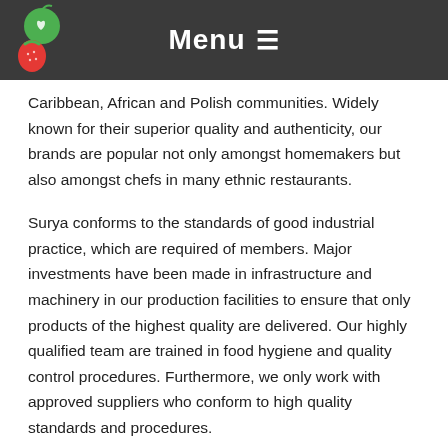Menu ☰
Caribbean, African and Polish communities. Widely known for their superior quality and authenticity, our brands are popular not only amongst homemakers but also amongst chefs in many ethnic restaurants.
Surya conforms to the standards of good industrial practice, which are required of members. Major investments have been made in infrastructure and machinery in our production facilities to ensure that only products of the highest quality are delivered. Our highly qualified team are trained in food hygiene and quality control procedures. Furthermore, we only work with approved suppliers who conform to high quality standards and procedures.
Representing over 2000 product lines from some of the world's leading countries of origin, from the traditional to the more exotic.